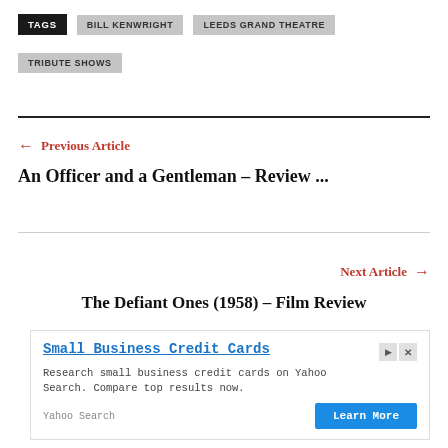TAGS  BILL KENWRIGHT  LEEDS GRAND THEATRE  TRIBUTE SHOWS
← Previous Article
An Officer and a Gentleman – Review ...
Next Article →
The Defiant Ones (1958) – Film Review
[Figure (other): Advertisement for Small Business Credit Cards via Yahoo Search with a Learn More button]